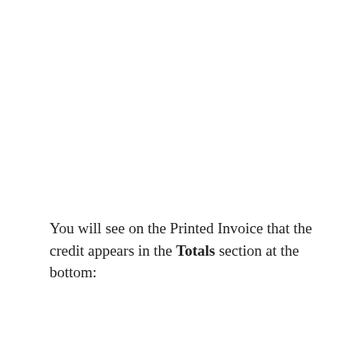You will see on the Printed Invoice that the credit appears in the Totals section at the bottom: